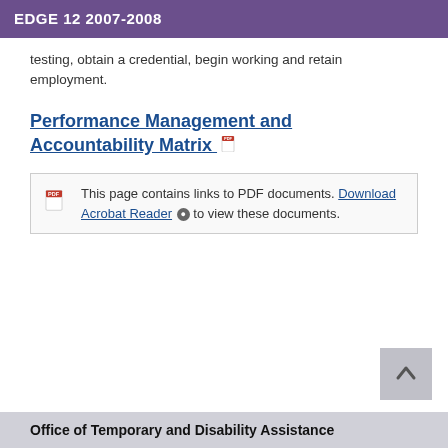EDGE 12  2007-2008
testing, obtain a credential, begin working and retain employment.
Performance Management and Accountability Matrix
This page contains links to PDF documents. Download Acrobat Reader to view these documents.
Office of Temporary and Disability Assistance